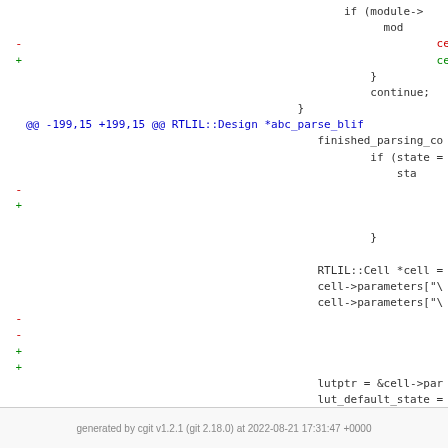[Figure (screenshot): Git diff output showing code changes in a C++ source file. Lines show modifications to RTLIL cell connection methods, with removed lines in red prefixed by '-' and added lines in green prefixed by '+'. Includes a hunk header @@ -199,15 +199,15 @@ RTLIL::Design *abc_parse_blif. Code context includes cell->connections_, cell->set(), module->connections, goto continue, RTLIL::Cell *cell, cell->parameters, lutptr, lut_default_state, and continue statements.]
generated by cgit v1.2.1 (git 2.18.0) at 2022-08-21 17:31:47 +0000